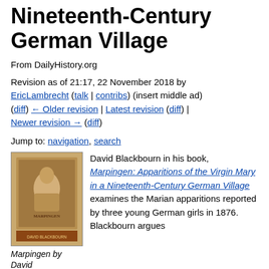Nineteenth-Century German Village
From DailyHistory.org
Revision as of 21:17, 22 November 2018 by EricLambrecht (talk | contribs) (insert middle ad)
(diff) ← Older revision | Latest revision (diff) | Newer revision → (diff)
Jump to: navigation, search
[Figure (illustration): Book cover of Marpingen by David Blackbourn]
Marpingen by David
David Blackbourn in his book, Marpingen: Apparitions of the Virgin Mary in a Nineteenth-Century German Village examines the Marian apparitions reported by three young German girls in 1876. Blackbourn argues